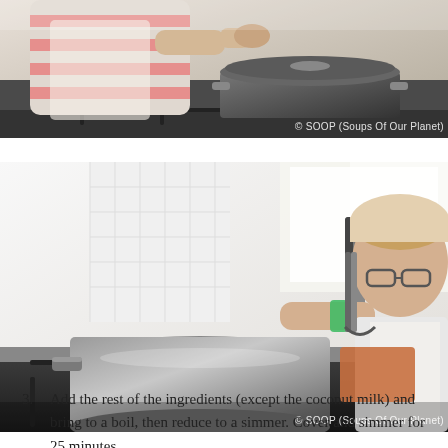[Figure (photo): Top portion of a kitchen photo showing a child in a striped shirt working at a stove with a dark pot, with watermark '© SOOP (Soups Of Our Planet)']
[Figure (photo): A child with glasses and a green wristband using a can opener over a large stockpot on a stove in a bright kitchen, with watermark '© SOOP (Soups Of Our Planet)']
3. Add the rest of the ingredients (except the coconut milk) and bring to a boil, then reduce to a simmer. Cover and simmer for 25 minutes.